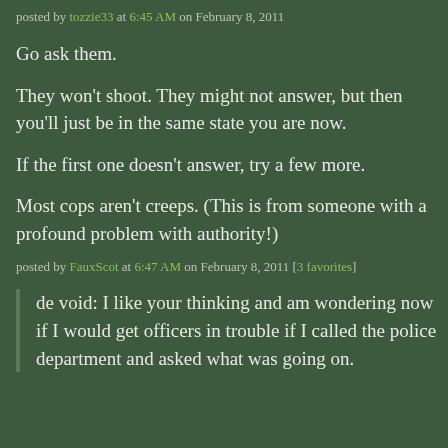posted by tozzie33 at 6:45 AM on February 8, 2011
Go ask them.
They won't shoot. They might not answer, but then you'll just be in the same state you are now.
If the first one doesn't answer, try a few more.
Most cops aren't creeps. (This is from someone with a profound problem with authority!)
posted by FauxScot at 6:47 AM on February 8, 2011 [3 favorites]
de void: I like your thinking and am wondering now if I would get officers in trouble if I called the police department and asked what was going on.